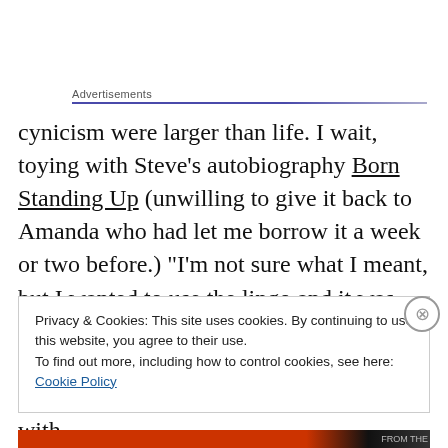Advertisements
cynicism were larger than life. I wait, toying with Steve’s autobiography Born Standing Up (unwilling to give it back to Amanda who had let me borrow it a week or two before.) “I’m not sure what I meant, but I wanted to use the lingo and it was seductive to make these pronouncements,” I read. “Through the years, I have learned there is no harm in charging oneself up with
Privacy & Cookies: This site uses cookies. By continuing to use this website, you agree to their use.
To find out more, including how to control cookies, see here: Cookie Policy